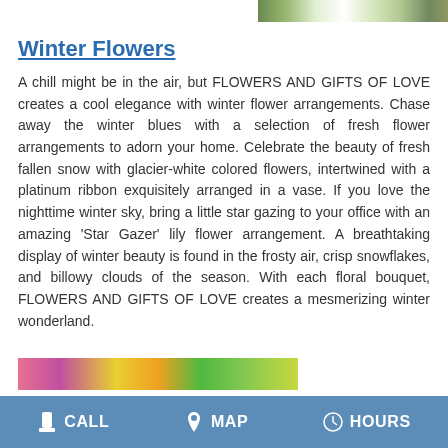[Figure (photo): Partial top banner image of flower arrangement with white and green flowers]
Winter Flowers
A chill might be in the air, but FLOWERS AND GIFTS OF LOVE creates a cool elegance with winter flower arrangements. Chase away the winter blues with a selection of fresh flower arrangements to adorn your home. Celebrate the beauty of fresh fallen snow with glacier-white colored flowers, intertwined with a platinum ribbon exquisitely arranged in a vase. If you love the nighttime winter sky, bring a little star gazing to your office with an amazing 'Star Gazer' lily flower arrangement. A breathtaking display of winter beauty is found in the frosty air, crisp snowflakes, and billowy clouds of the season. With each floral bouquet, FLOWERS AND GIFTS OF LOVE creates a mesmerizing winter wonderland.
[Figure (photo): Partial bottom image showing colorful flowers in pink, purple, yellow, orange, and green]
CALL  MAP  HOURS